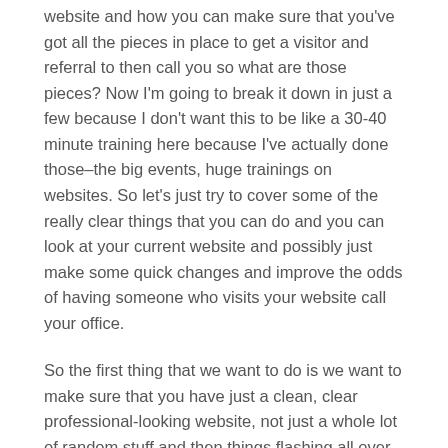website and how you can make sure that you've got all the pieces in place to get a visitor and referral to then call you so what are those pieces? Now I'm going to break it down in just a few because I don't want this to be like a 30-40 minute training here because I've actually done those–the big events, huge trainings on websites. So let's just try to cover some of the really clear things that you can do and you can look at your current website and possibly just make some quick changes and improve the odds of having someone who visits your website call your office.
So the first thing that we want to do is we want to make sure that you have just a clean, clear professional-looking website, not just a whole lot of random stuff and then things flashing all over the place, just nice clean and clear and we want smiling faces, and smiling faces